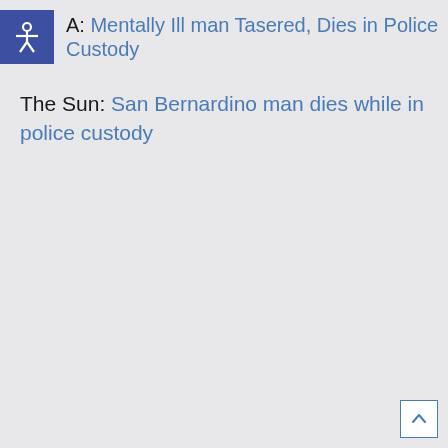A: Mentally Ill man Tasered, Dies in Police Custody
The Sun: San Bernardino man dies while in police custody